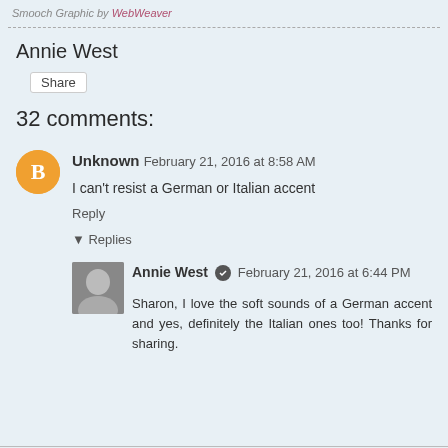Smooch Graphic by WebWeaver
Annie West
Share
32 comments:
Unknown  February 21, 2016 at 8:58 AM
I can't resist a German or Italian accent
Reply
Replies
Annie West  February 21, 2016 at 6:44 PM
Sharon, I love the soft sounds of a German accent and yes, definitely the Italian ones too! Thanks for sharing.